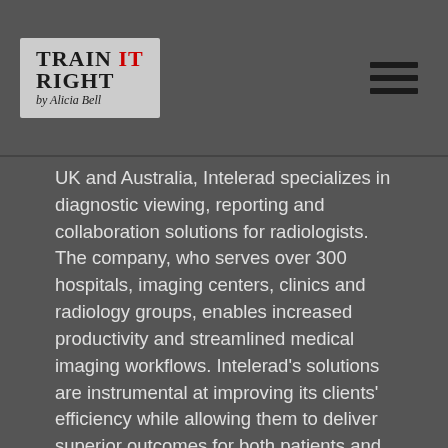[Figure (logo): Train It Right by Alicia Bell logo in a grey box, top left corner]
UK and Australia, Intelerad specializes in diagnostic viewing, reporting and collaboration solutions for radiologists. The company, who serves over 300 hospitals, imaging centers, clinics and radiology groups, enables increased productivity and streamlined medical imaging workflows. Intelerad's solutions are instrumental at improving its clients' efficiency while allowing them to deliver superior outcomes for both patients and healthcare providers.
Under the ownership of Novacap, Intelerad made significant investments in all areas of the business, including in research and development, acquisition...